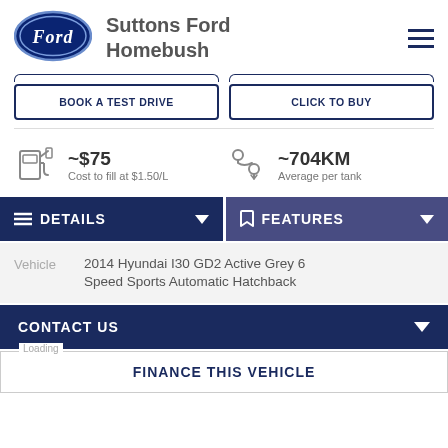[Figure (logo): Ford oval logo in dark navy blue with 'Ford' script in white]
Suttons Ford Homebush
BOOK A TEST DRIVE
CLICK TO BUY
~$75 Cost to fill at $1.50/L
~704KM Average per tank
DETAILS
FEATURES
| Vehicle |  |
| --- | --- |
| Vehicle | 2014 Hyundai I30 GD2 Active Grey 6 Speed Sports Automatic Hatchback |
CONTACT US
FINANCE THIS VEHICLE